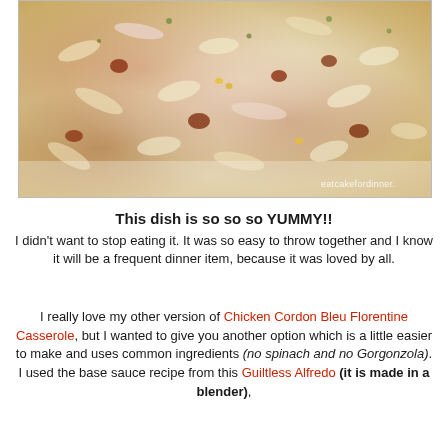[Figure (photo): Close-up photo of a creamy pasta casserole dish (penne/rigatoni) with what appears to be chicken, bacon/tomatoes, and a white alfredo-style sauce, topped with breadcrumbs and herbs on a white plate. Watermark reads 'eatcakefordinner.']
This dish is so so so YUMMY!! I didn't want to stop eating it. It was so easy to throw together and I know it will be a frequent dinner item, because it was loved by all.
I really love my other version of Chicken Cordon Bleu Florentine Casserole, but I wanted to give you another option which is a little easier to make and uses common ingredients (no spinach and no Gorgonzola). I used the base sauce recipe from this Guiltless Alfredo (it is made in a blender),